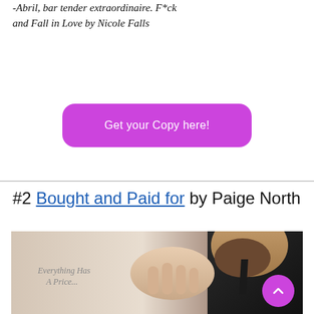-Abril, bar tender extraordinaire. F*ck and Fall in Love by Nicole Falls
[Figure (other): Purple rounded rectangle button with white text 'Get your Copy here!']
#2 Bought and Paid for by Paige North
[Figure (photo): Book cover for 'Bought and Paid for' by Paige North showing a bearded man in a suit with the text 'Everything Has A Price...']